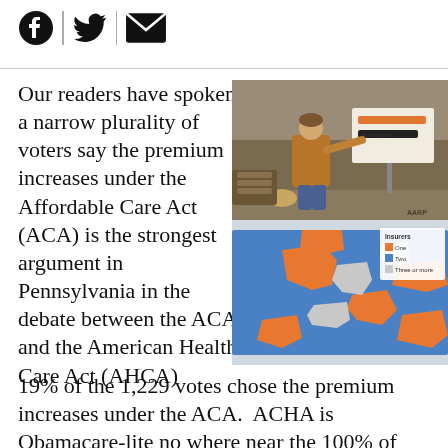[Social share icons: Facebook, Twitter, Email]
Our readers have spoken, a narrow plurality of voters say the premium increases under the Affordable Care Act (ACA) is the strongest argument in Pennsylvania in the debate between the ACA and the American Health Care Act (AHCA)
[Figure (photo): Man in brown jacket pointing at a sign that reads a phone number and #NoAgeTax, outdoors in a wooded area]
[Figure (map): Choropleth map of Pennsylvania counties showing insurers — One (orange), Two (blue), Three or more (gray) — with legend in top right corner]
19% of the 1,229 votes chose the premium increases under the ACA.  ACHA is Obamacare-lite no where near the 100% of oats per and